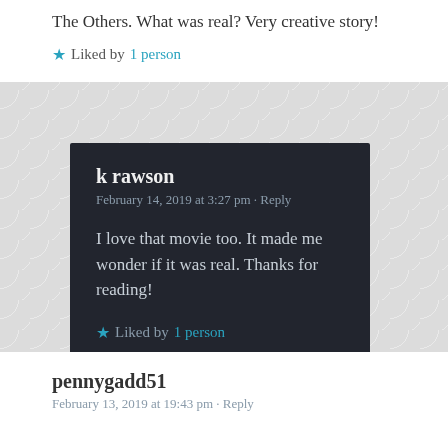The Others. What was real? Very creative story!
★ Liked by 1 person
k rawson
February 14, 2019 at 3:27 pm · Reply
I love that movie too. It made me wonder if it was real. Thanks for reading!
★ Liked by 1 person
pennygadd51
February 13, 2019 at 19:43 pm · Reply